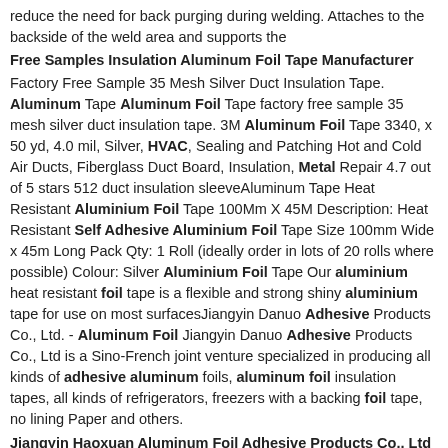reduce the need for back purging during welding. Attaches to the backside of the weld area and supports the
Free Samples Insulation Aluminum Foil Tape Manufacturer
Factory Free Sample 35 Mesh Silver Duct Insulation Tape. Aluminum Tape Aluminum Foil Tape factory free sample 35 mesh silver duct insulation tape. 3M Aluminum Foil Tape 3340, x 50 yd, 4.0 mil, Silver, HVAC, Sealing and Patching Hot and Cold Air Ducts, Fiberglass Duct Board, Insulation, Metal Repair 4.7 out of 5 stars 512 duct insulation sleeveAluminum Tape Heat Resistant Aluminium Foil Tape 100Mm X 45M Description: Heat Resistant Self Adhesive Aluminium Foil Tape Size 100mm Wide x 45m Long Pack Qty: 1 Roll (ideally order in lots of 20 rolls where possible) Colour: Silver Aluminium Foil Tape Our aluminium heat resistant foil tape is a flexible and strong shiny aluminium tape for use on most surfacesJiangyin Danuo Adhesive Products Co., Ltd. - Aluminum Foil Jiangyin Danuo Adhesive Products Co., Ltd is a Sino-French joint venture specialized in producing all kinds of adhesive aluminum foils, aluminum foil insulation tapes, all kinds of refrigerators, freezers with a backing foil tape, no lining Paper and others.
Jiangyin Haoxuan Aluminum Foil Adhesive Products Co., Ltd
Cloth Tape. Silver Aluminum Foil Air conditioning insulation Duct Tape for refrigerator freezer. $0.10 - $2.00 / Roll. 2 Rolls (Min. Order) High Temperature Reinforced Aluminum Foil Fiber Glass Cloth Tape for Thermal Insulation. $0.10 -